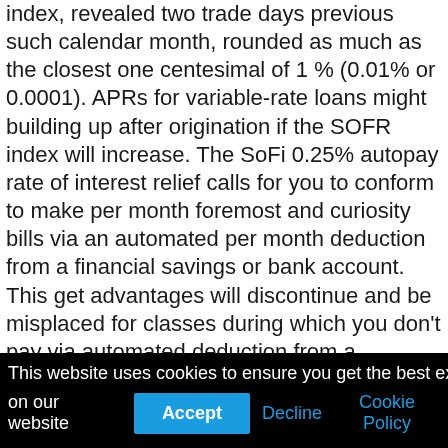index, revealed two trade days previous such calendar month, rounded as much as the closest one centesimal of 1 % (0.01% or 0.0001). APRs for variable-rate loans might building up after origination if the SOFR index will increase. The SoFi 0.25% autopay rate of interest relief calls for you to conform to make per month foremost and curiosity bills via an automated per month deduction from a financial savings or bank account. This get advantages will discontinue and be misplaced for classes during which you don't pay via automated deduction from a financial savings or bank account. The convenience lowers your rate of interest however does no longer trade the quantity of your per month cost. This get advantages is suspended all the way through classes of deferment and
This website uses cookies to ensure you get the best experience on our website  Accept  Decline  Cookie Policy